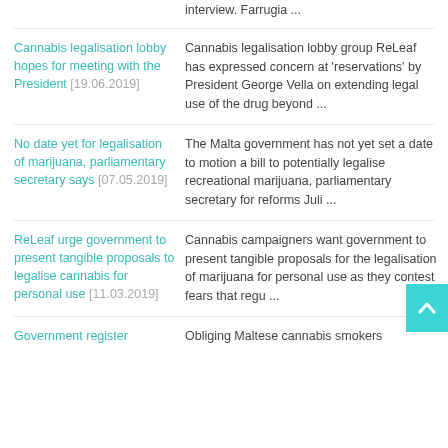interview. Farrugia ...
Cannabis legalisation lobby hopes for meeting with the President [19.06.2019]
Cannabis legalisation lobby group ReLeaf has expressed concern at 'reservations' by President George Vella on extending legal use of the drug beyond ...
No date yet for legalisation of marijuana, parliamentary secretary says [07.05.2019]
The Malta government has not yet set a date to motion a bill to potentially legalise recreational marijuana, parliamentary secretary for reforms Juli ...
ReLeaf urge government to present tangible proposals to legalise cannabis for personal use [11.03.2019]
Cannabis campaigners want government to present tangible proposals for the legalisation of marijuana for personal use as they contest fears that regu ...
Government register
Obliging Maltese cannabis smokers